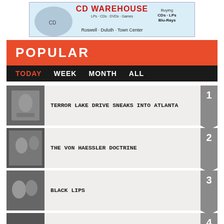[Figure (photo): CD Warehouse advertisement banner showing LPs, CDs, DVDs, Games, Blu-Rays. Locations: Roswell, Duluth, Town Center.]
POPULAR
TODAY | WEEK | MONTH | ALL
1. TERROR LAKE DRIVE SNEAKS INTO ATLANTA
2. THE VON HAESSLER DOCTRINE
3. BLACK LIPS
4. THE GUN CLUB, PART 3 (PATRICIA MORRISON INTERVIEW)
5. AMERICA HOFFMAN, PART 1